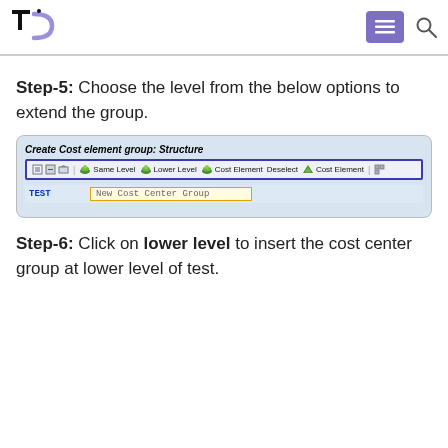[Logo: tc] [menu icon] [search icon]
Step-5: Choose the level from the below options to extend the group.
[Figure (screenshot): SAP screen showing 'Create Cost element group: Structure' with toolbar buttons: Same Level, Lower Level, Cost Element, Deselect, Cost Element. A row shows TEST with input field 'New Cost Center Group'.]
Step-6: Click on lower level to insert the cost center group at lower level of test.